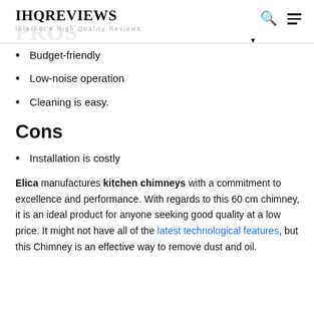IHQREVIEWS — Internet's High Quality Reviews
Budget-friendly
Low-noise operation
Cleaning is easy.
Cons
Installation is costly
Elica manufactures kitchen chimneys with a commitment to excellence and performance. With regards to this 60 cm chimney, it is an ideal product for anyone seeking good quality at a low price. It might not have all of the latest technological features, but this Chimney is an effective way to remove dust and oil.